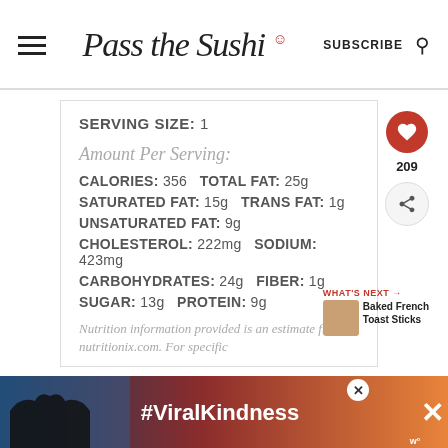Pass the Sushi — SUBSCRIBE
SERVING SIZE: 1
Amount Per Serving:
CALORIES: 356 TOTAL FAT: 25g
SATURATED FAT: 15g TRANS FAT: 1g
UNSATURATED FAT: 9g
CHOLESTEROL: 222mg SODIUM: 423mg
CARBOHYDRATES: 24g FIBER: 1g
SUGAR: 13g PROTEIN: 9g
Nutrition information provided is an estimate from nutritionix.com. For specific
[Figure (infographic): Advertisement banner with #ViralKindness text and heart hands silhouette]